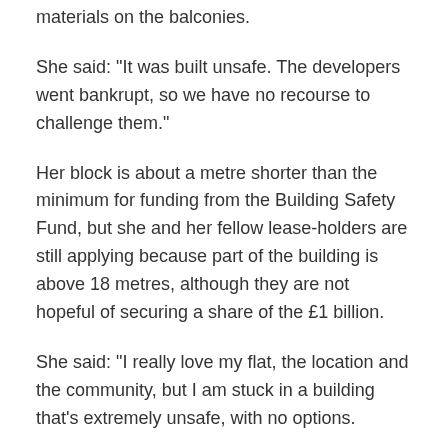materials on the balconies.
She said: "It was built unsafe. The developers went bankrupt, so we have no recourse to challenge them."
Her block is about a metre shorter than the minimum for funding from the Building Safety Fund, but she and her fellow lease-holders are still applying because part of the building is above 18 metres, although they are not hopeful of securing a share of the £1 billion.
She said: "I really love my flat, the location and the community, but I am stuck in a building that's extremely unsafe, with no options.
"My mum died in the comfort of thinking that she'd left me with home security for life, in an accessible flat that I love. It's heart-breaking that this isn't the case.